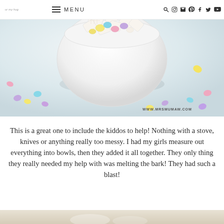MENU | mrsmumaw.com navigation bar with social icons
[Figure (photo): Overhead photo of a white bowl filled with Easter puppy chow snack mix including Chex cereal coated in white chocolate, colorful pastel candy-coated chocolate eggs, and other treats, with scattered pastel eggs around the bowl on a white surface. Watermark reads WWW.MRSMUMAW.COM]
This is a great one to include the kiddos to help! Nothing with a stove, knives or anything really too messy. I had my girls measure out everything into bowls, then they added it all together. They only thing they really needed my help with was melting the bark! They had such a blast!
[Figure (photo): Partial bottom photo of the Easter snack mix, cropped at bottom of page]